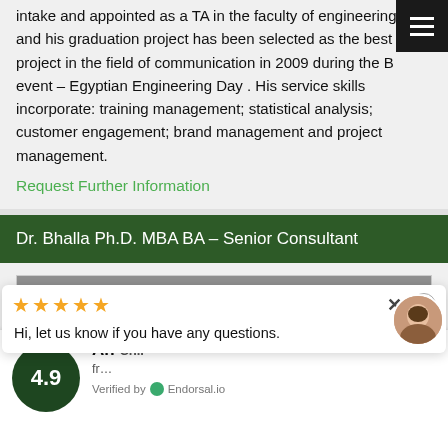intake and appointed as a TA in the faculty of engineering and his graduation project has been selected as the best project in the field of communication in 2009 during the B event – Egyptian Engineering Day . His service skills incorporate: training management; statistical analysis; customer engagement; brand management and project management.
Request Further Information
Dr. Bhalla Ph.D. MBA BA – Senior Consultant
[Figure (photo): Partial headshot photo of Dr. Bhalla, showing top of head with gray/silver hair against a gray background]
4.9
Hi, let us know if you have any questions.
Verified by Endorsal.io